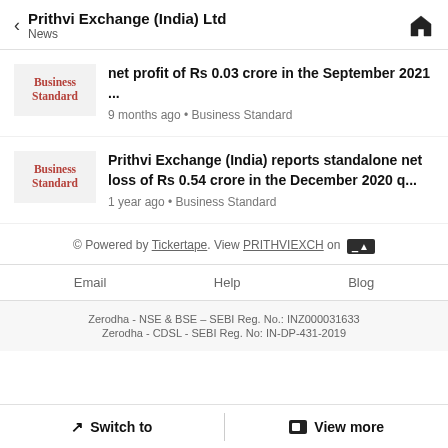Prithvi Exchange (India) Ltd — News
net profit of Rs 0.03 crore in the September 2021 ...
9 months ago • Business Standard
Prithvi Exchange (India) reports standalone net loss of Rs 0.54 crore in the December 2020 q...
1 year ago • Business Standard
© Powered by Tickertape. View PRITHVIEXCH on [Tickertape logo]
Email   Help   Blog
Zerodha - NSE & BSE – SEBI Reg. No.: INZ000031633
Zerodha - CDSL - SEBI Reg. No: IN-DP-431-2019
↗ Switch to   View more